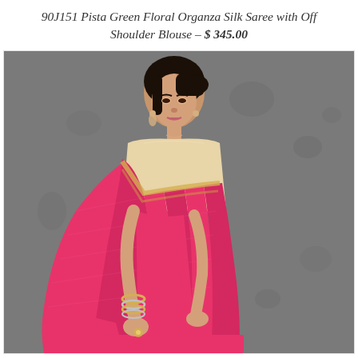90J151 Pista Green Floral Organza Silk Saree with Off Shoulder Blouse – $ 345.00
[Figure (photo): A woman wearing a pink/hot-pink organza silk saree with a cream/gold blouse, posed against a grey textured background. She has dark hair pulled back, wearing earrings and bangles.]